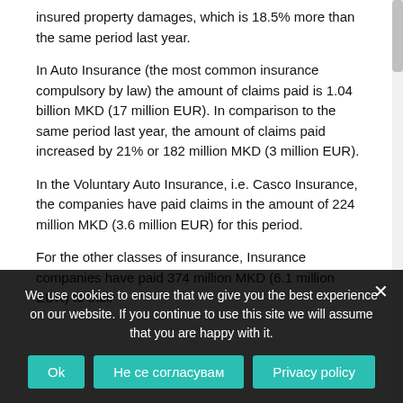insured property damages, which is 18.5% more than the same period last year.
In Auto Insurance (the most common insurance compulsory by law) the amount of claims paid is 1.04 billion MKD (17 million EUR). In comparison to the same period last year, the amount of claims paid increased by 21% or 182 million MKD (3 million EUR).
In the Voluntary Auto Insurance, i.e. Casco Insurance, the companies have paid claims in the amount of 224 million MKD (3.6 million EUR) for this period.
For the other classes of insurance, Insurance companies have paid 374 million MKD (6.1 million EUR) to their
We use cookies to ensure that we give you the best experience on our website. If you continue to use this site we will assume that you are happy with it.